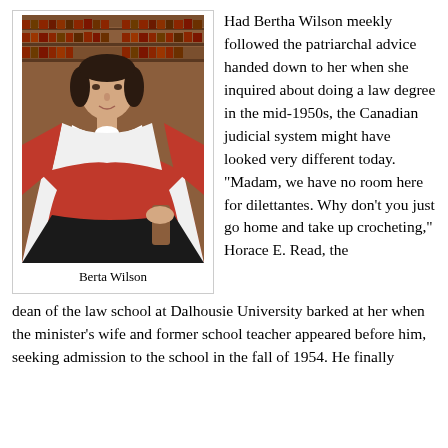[Figure (photo): Portrait photograph of Bertha Wilson in judicial robes (red and white), seated in a wooden chair in front of bookshelves filled with law books.]
Berta Wilson
Had Bertha Wilson meekly followed the patriarchal advice handed down to her when she inquired about doing a law degree in the mid-1950s, the Canadian judicial system might have looked very different today. "Madam, we have no room here for dilettantes. Why don't you just go home and take up crocheting," Horace E. Read, the dean of the law school at Dalhousie University barked at her when the minister's wife and former school teacher appeared before him, seeking admission to the school in the fall of 1954. He finally